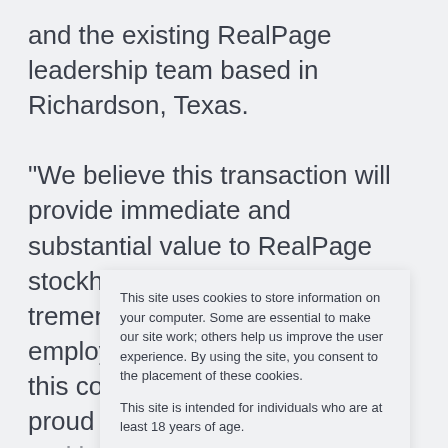and the existing RealPage leadership team based in Richardson, Texas.

“We believe this transaction will provide immediate and substantial value to RealPage stockholders, reflecting the tremendous work that our employees have done to build this company. I am immensely proud of that work and believe that this transaction will
This site uses cookies to store information on your computer. Some are essential to make our site work; others help us improve the user experience. By using the site, you consent to the placement of these cookies.

This site is intended for individuals who are at least 18 years of age.

Read our Privacy Notice to learn more.